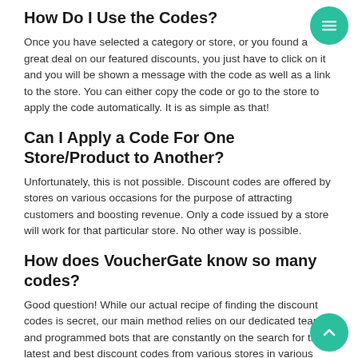How Do I Use the Codes?
Once you have selected a category or store, or you found a great deal on our featured discounts, you just have to click on it and you will be shown a message with the code as well as a link to the store. You can either copy the code or go to the store to apply the code automatically. It is as simple as that!
Can I Apply a Code For One Store/Product to Another?
Unfortunately, this is not possible. Discount codes are offered by stores on various occasions for the purpose of attracting customers and boosting revenue. Only a code issued by a store will work for that particular store. No other way is possible.
How does VoucherGate know so many codes?
Good question! While our actual recipe of finding the discount codes is secret, our main method relies on our dedicated team and programmed bots that are constantly on the search for the latest and best discount codes from various stores in various categories. We understand that and are always on the lookout for the latest codes as well as removing any outdated ones.
Are the Stores Trusted?